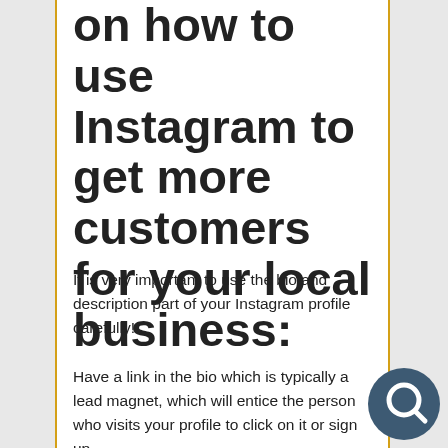on how to use Instagram to get more customers for your local business:
It is very important to use the bio and description part of your Instagram profile carefully!
Have a link in the bio which is typically a lead magnet, which will entice the person who visits your profile to click on it or sign up.